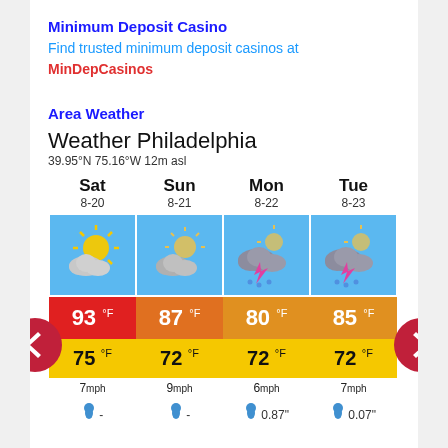Minimum Deposit Casino
Find trusted minimum deposit casinos at MinDepCasinos
Area Weather
Weather Philadelphia
39.95°N 75.16°W 12m asl
| Sat 8-20 | Sun 8-21 | Mon 8-22 | Tue 8-23 |
| --- | --- | --- | --- |
| [partly-cloudy-icon] | [partly-cloudy-icon] | [thunderstorm-rain-icon] | [thunderstorm-rain-icon] |
| 93 °F | 87 °F | 80 °F | 85 °F |
| 75 °F | 72 °F | 72 °F | 72 °F |
| 7 mph | 9 mph | 6 mph | 7 mph |
| - | - | 0.87" | 0.07" |